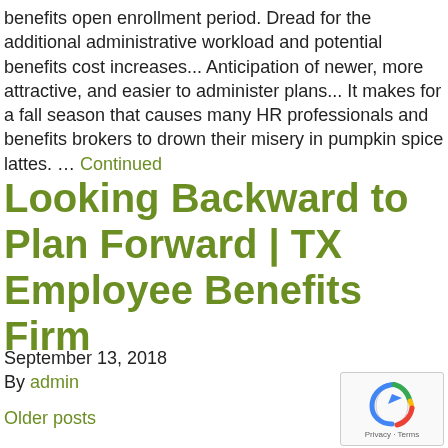benefits open enrollment period. Dread for the additional administrative workload and potential benefits cost increases... Anticipation of newer, more attractive, and easier to administer plans... It makes for a fall season that causes many HR professionals and benefits brokers to drown their misery in pumpkin spice lattes. … Continued
Looking Backward to Plan Forward | TX Employee Benefits Firm
September 13, 2018
By admin
Older posts